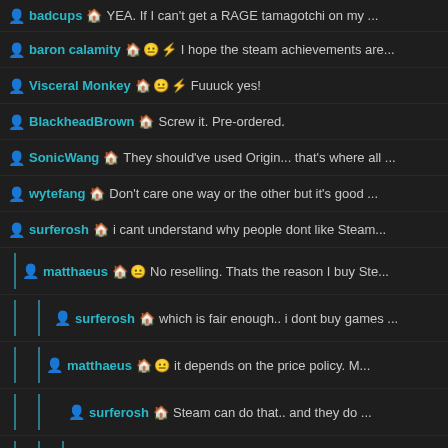badcups ▲  YEA. If I can't get a RAGE tamagotchi on my ...
baron calamity ▲ 😐 ⚡  I hope the steam achievements are...
Visceral Monkey ▲ 😐 ⚡  Fuuuck yes!
BlackheadBrown ▲  Screw it. Pre-ordered.
SonicWang ▲  They should've used Origin... that's where all ...
wytefang ▲  Don't care one way or the other but it's good ...
surferosh ▲  i cant understand why people dont like Steam...
matthaeus ▲ 😐  No reselling. Thats the reason I buy Ste...
surferosh ▲  which is fair enough.. i dont buy games ...
matthaeus ▲ 😐  it depends on the price policy. M...
surferosh ▲  Steam can do that.. and they do ...
matthaeus ▲ 😐  Steam offers reselling? C...
surferosh ▲  no man. i didnt say Steam...
marcchello ▲  steam cheap? realy? ...
Schnapple ▲ 😐 ⚡  People who want to ...
node ▲ 😐 ⚡  When was the last tiem you resold a S...